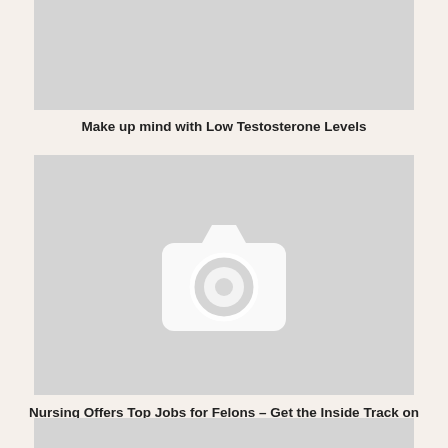[Figure (photo): Placeholder image (gray rectangle, top, cropped)]
Make up mind with Low Testosterone Levels
[Figure (photo): Placeholder image with camera icon in center]
Nursing Offers Top Jobs for Felons – Get the Inside Track on Nursing Jobs for Felons
[Figure (photo): Placeholder image (gray rectangle, bottom, cropped)]